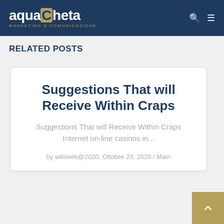aquaCheta MARKETING E COMUNICAZIONE
RELATED POSTS
Suggestions That will Receive Within Craps
Suggestions That will Receive Within Craps Internet on-line casinos in...
by wikiweb@2020, Ottobre 23, 2020 / Main